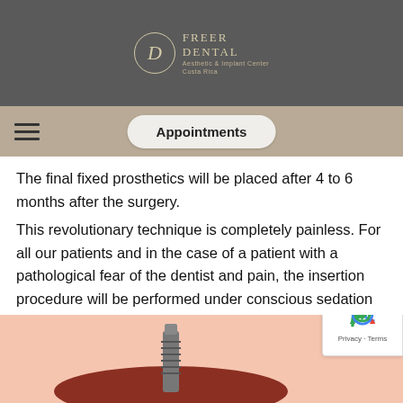[Figure (logo): Freer Dental logo: circular emblem with stylized 'D' letter inside, beside text 'FREER DENTAL - Aesthetic & Implant Center, Costa Rica' on dark gray background]
Appointments
The final fixed prosthetics will be placed after 4 to 6 months after the surgery.
This revolutionary technique is completely painless. For all our patients and in the case of a patient with a pathological fear of the dentist and pain, the insertion procedure will be performed under conscious sedation (IV Sedation).
[Figure (illustration): Illustration of a dental implant inserted into jaw/gum tissue, showing a screw-type implant in dark red gum tissue with pink background]
[Figure (other): Google reCAPTCHA badge with recycling-arrow icon and Privacy - Terms text]